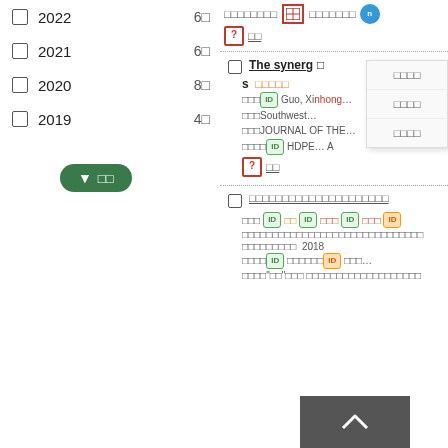2022 6□
2021 6□
2020 8□
2019 4□
Filter button (funnel icon) □□
[Figure (screenshot): Academic database search results page showing two result entries with CJK text, author names including Guo Xinchong, Southwest institution, JOURNAL OF THE..., HDPE keyword, and a popup menu overlay with CJK options. A back-to-top button is visible at bottom right.]